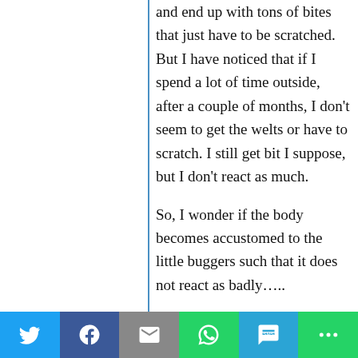and end up with tons of bites that just have to be scratched. But I have noticed that if I spend a lot of time outside, after a couple of months, I don't seem to get the welts or have to scratch. I still get bit I suppose, but I don't react as much.
So, I wonder if the body becomes accustomed to the little buggers such that it does not react as badly…..
So…. the solution to bug bites is